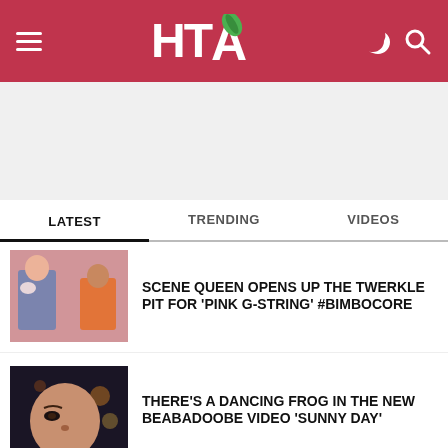HTA (logo with leaf)
[Figure (other): Advertisement / blank ad space placeholder]
LATEST | TRENDING | VIDEOS
[Figure (photo): Two women posing, one in denim outfit holding a small white dog, one in an orange bikini top]
SCENE QUEEN OPENS UP THE TWERKLE PIT FOR 'PINK G-STRING' #BIMBOCORE
[Figure (photo): Close-up of a woman's face with bokeh lights in dark background]
THERE'S A DANCING FROG IN THE NEW BEABADOOBE VIDEO 'SUNNY DAY'